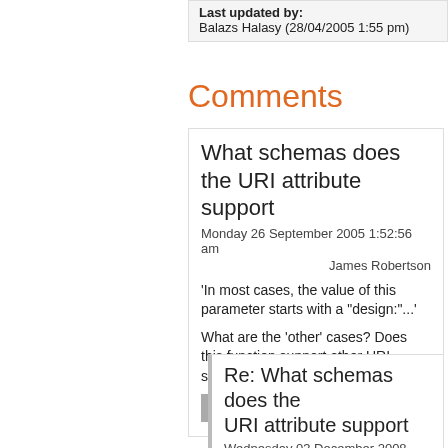Last updated by: Balazs Halasy (28/04/2005 1:55 pm)
Comments
What schemas does the URI attribute support
Monday 26 September 2005 1:52:56 am
James Robertson
'In most cases, the value of this parameter starts with a "design:"...'
What are the 'other' cases? Does this function support other URI schemas such as 'http:'?
Reply
Re: What schemas does the URI attribute support
Wednesday 03 December 2008 1:33:47 pm
pike
It seems php code can register schema's with the template parser